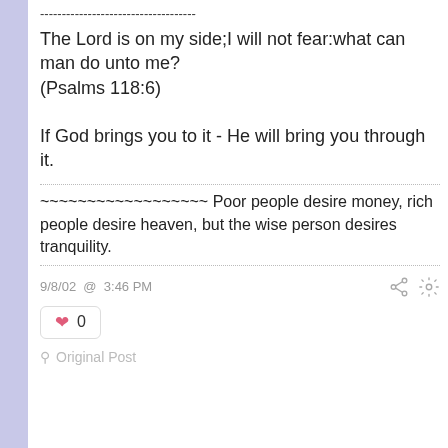------------------------------------
The Lord is on my side;I will not fear:what can man do unto me?
(Psalms 118:6)
If God brings you to it - He will bring you through it.
~~~~~~~~~~~~~~~~~~ Poor people desire money, rich people desire heaven, but the wise person desires tranquility.
9/8/02 @ 3:46 PM
0
Original Post